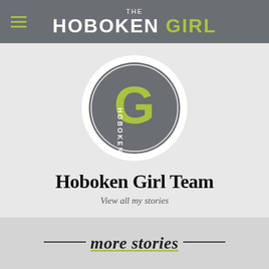THE HOBOKEN GIRL
[Figure (logo): Hoboken Girl circular logo with stylized G and HOBOKEN text on gray background]
Hoboken Girl Team
View all my stories
more stories